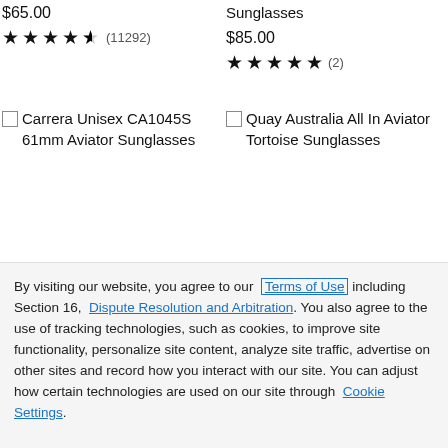$65.00
★★★★½ (11292)
Sunglasses
$85.00
★★★★★ (2)
Carrera Unisex CA1045S 61mm Aviator Sunglasses
Quay Australia All In Aviator Tortoise Sunglasses
By visiting our website, you agree to our Terms of Use including Section 16, Dispute Resolution and Arbitration. You also agree to the use of tracking technologies, such as cookies, to improve site functionality, personalize site content, analyze site traffic, advertise on other sites and record how you interact with our site. You can adjust how certain technologies are used on our site through Cookie Settings.